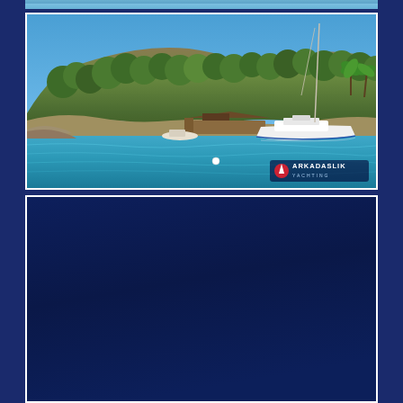[Figure (photo): Top sliver of a previous photo visible at the top edge — blue sea/sky strip]
[Figure (photo): Coastal scene with a rocky, tree-covered hillside in the background, a marina/dock area with a large white motorboat and a sailboat mast visible, calm turquoise-blue water in the foreground, and an Arkadaslik Yachting watermark logo in the lower right corner]
[Figure (photo): Dark navy blue panel — bottom portion of the page, appears to be a dark/night photo or a solid dark blue background]